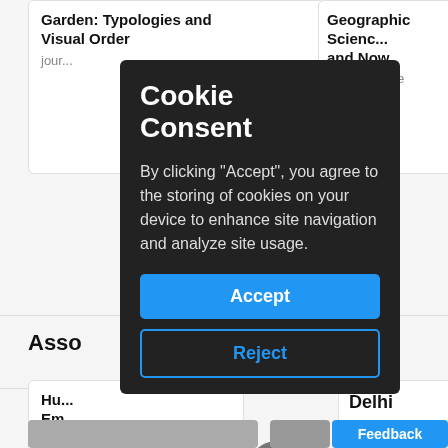Garden: Typologies and Visual Order
journal article
Geographic Science and Now
journal article
Asso
Hu... Em...
India
dec
Delhi
India
place
Site C
[Figure (photo): Ground level photo of stone/brick surface]
[Figure (photo): Outdoor scene with trees]
Feedback
Cookie Consent
By clicking "Accept", you agree to the storing of cookies on your device to enhance site navigation and analyze site usage.
Accept
Reject